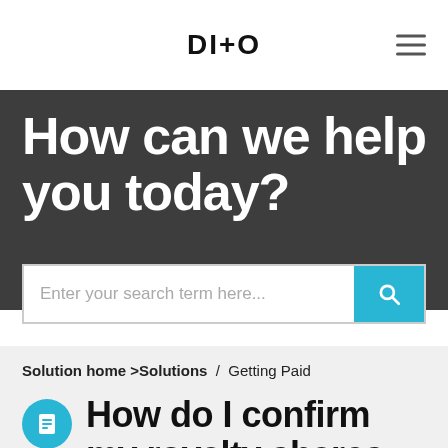DITTO
How can we help you today?
Enter your search term here...
Solution home >Solutions / Getting Paid
How do I confirm my royalty shares to